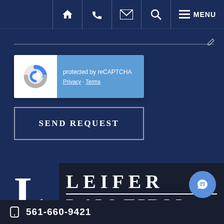[Figure (screenshot): Navigation bar with home, phone, email, search, and menu icons on dark blue background]
[Figure (logo): reCAPTCHA widget showing logo with 'protected by reCAPTCHA' and Privacy/Terms links]
SEND REQUEST
[Figure (logo): Leifer Law Firm logo with large L in dark blue box and firm name in serif font]
561-660-9421